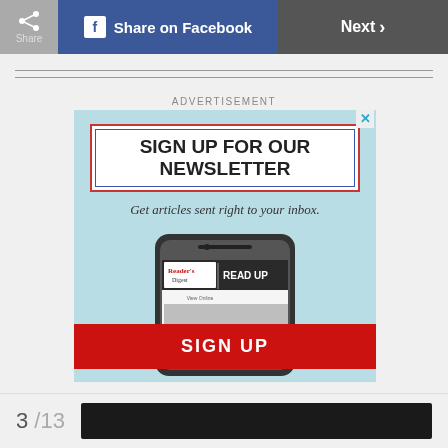Share | Share on Facebook | Next >
ADVERTISEMENT
[Figure (infographic): Newsletter signup advertisement for Reader's Digest. Contains 'SIGN UP FOR OUR NEWSLETTER' heading, 'Get articles sent right to your inbox.' tagline, an image of a smartphone showing the Reader's Digest READ UP app, and a red SIGN UP button.]
3 /13